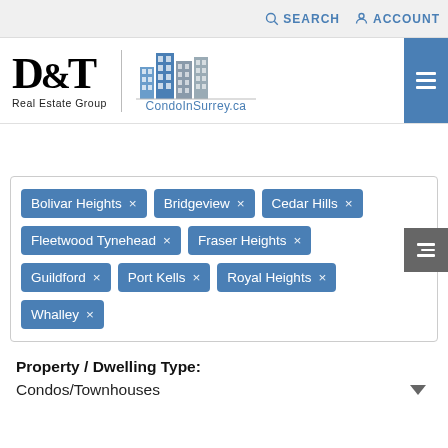SEARCH  ACCOUNT
[Figure (logo): D&T Real Estate Group logo with CondoInSurrey.ca building icon logo]
Bolivar Heights ×
Bridgeview ×
Cedar Hills ×
Fleetwood Tynehead ×
Fraser Heights ×
Guildford ×
Port Kells ×
Royal Heights ×
Whalley ×
Property / Dwelling Type:
Condos/Townhouses